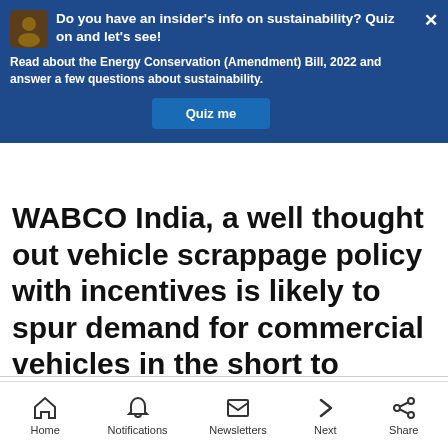[Figure (screenshot): Blue banner popup with icon, title 'Do you have an insider's info on sustainability? Quiz on and let's see!', body text about Energy Conservation Bill 2022, and a 'Quiz me' button]
WABCO India, a well thought out vehicle scrappage policy with incentives is likely to spur demand for commercial vehicles in the short to medium term.
Zydus Wellness has over 90% market share in sugar free products
[Figure (screenshot): Advertisement banner: Sbcco-China FRP for Mining and Chemical, Get Quote button]
Home  Notifications  Newsletters  Next  Share